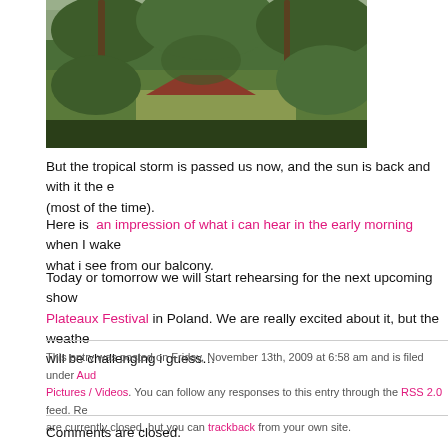[Figure (photo): Tropical vegetation scene with palm trees, lush green jungle, and a small red-tiled roof structure visible among the trees]
But the tropical storm is passed us now, and the sun is back and with it the e (most of the time).
Here is an impression of what i can hear in the early morning when I wake what i see from our balcony.
Today or tomorrow we will start rehearsing for the next upcoming show Plateaux Festival in Poland. We are really excited about it, but the weathe will be challenging i guess…
This entry was posted on Friday, November 13th, 2009 at 6:58 am and is filed under Aud Pictures / Videos. You can follow any responses to this entry through the RSS 2.0 feed. Re are currently closed, but you can trackback from your own site.
Comments are closed.